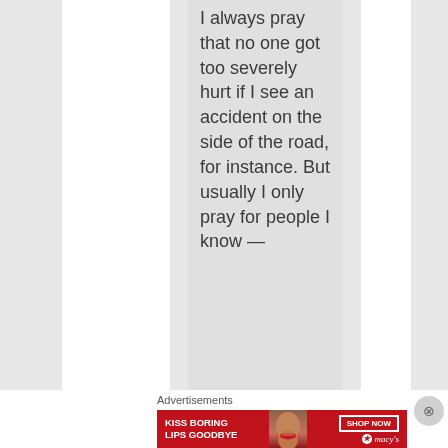I always pray that no one got too severely hurt if I see an accident on the side of the road, for instance. But usually I only pray for people I know —
Advertisements
[Figure (illustration): Macy's advertisement banner with red background, woman's face with red lips, text 'KISS BORING LIPS GOODBYE', 'SHOP NOW' button, and Macy's star logo]